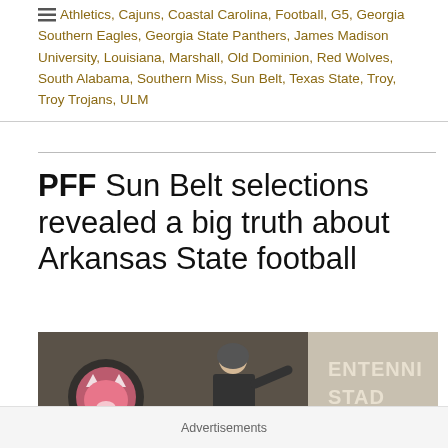Athletics, Cajuns, Coastal Carolina, Football, G5, Georgia Southern Eagles, Georgia State Panthers, James Madison University, Louisiana, Marshall, Old Dominion, Red Wolves, South Alabama, Southern Miss, Sun Belt, Texas State, Troy, Troy Trojans, ULM
PFF Sun Belt selections revealed a big truth about Arkansas State football
[Figure (photo): A football player throwing a ball in front of a sign reading CENTENNI STAD (Centennial Stadium), with an Arkansas State Red Wolves logo visible on a banner. A close button (X) appears in the bottom right corner.]
Advertisements